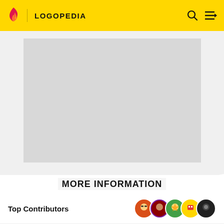LOGOPEDIA
[Figure (other): Advertisement placeholder area (grey rectangle) with label ADVERTISEMENT below]
MORE INFORMATION
Top Contributors
Categories
Community content is available under CC BY SA unless